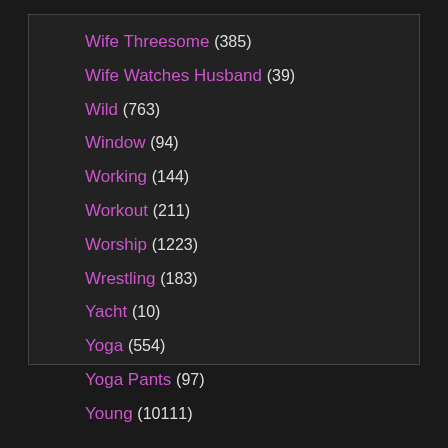Wife Threesome (385)
Wife Watches Husband (39)
Wild (763)
Window (94)
Working (144)
Workout (211)
Worship (1223)
Wrestling (183)
Yacht (10)
Yoga (554)
Yoga Pants (97)
Young (10111)